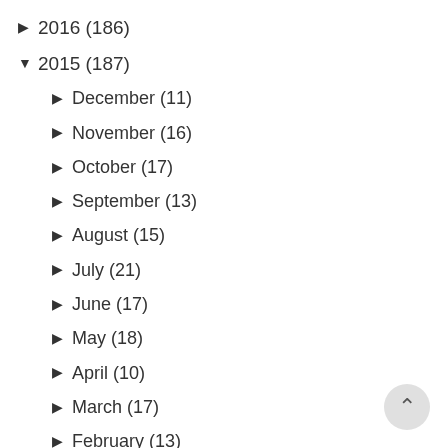▶ 2016 (186)
▼ 2015 (187)
▶ December (11)
▶ November (16)
▶ October (17)
▶ September (13)
▶ August (15)
▶ July (21)
▶ June (17)
▶ May (18)
▶ April (10)
▶ March (17)
▶ February (13)
▼ January (19)
High End Foundation For Mature Skin
Elizabeth Arden Eight Hour Cream